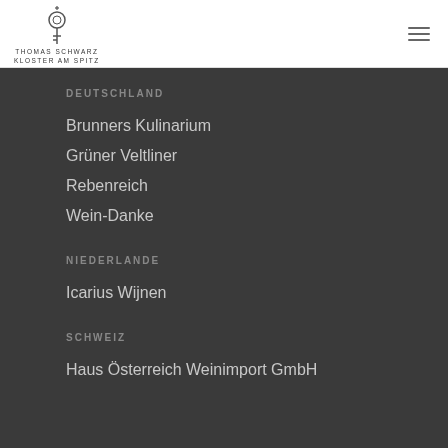THOMAS SCHWARZ KLOSTER AM SPITZ
DEUTSCHLAND
Brunners Kulinarium
Grüner Veltliner
Rebenreich
Wein-Danke
NIEDERLANDE
Icarius Wijnen
SCHWEIZ
Haus Österreich Weinimport GmbH